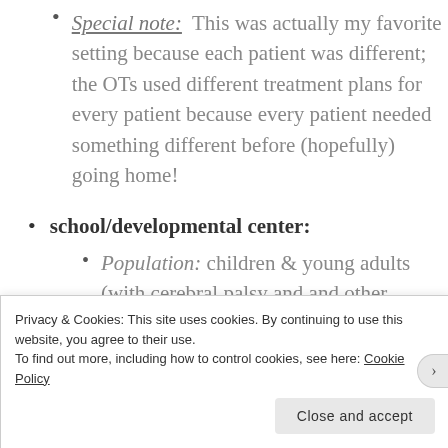Special note: This was actually my favorite setting because each patient was different; the OTs used different treatment plans for every patient because every patient needed something different before (hopefully) going home!
school/developmental center:
Population: children & young adults (with cerebral palsy and and other physical or developmental disorders)
Privacy & Cookies: This site uses cookies. By continuing to use this website, you agree to their use. To find out more, including how to control cookies, see here: Cookie Policy